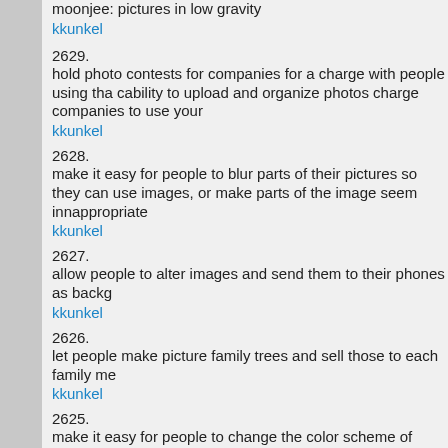moonjee: pictures in low gravity
kkunkel
2629.
hold photo contests for companies for a charge with people using tha cability to upload and organize photos charge companies to use your
kkunkel
2628.
make it easy for people to blur parts of their pictures so they can use images, or make parts of the image seem innappropriate
kkunkel
2627.
allow people to alter images and send them to their phones as backg
kkunkel
2626.
let people make picture family trees and sell those to each family me
kkunkel
2625.
make it easy for people to change the color scheme of photos, offer i those big images that are a picture made up of a bunch of little pictur is made of little Bob pictures
kkunkel
2624.
include enough photo manipulation tools so that bands use the site to again they can bring the file to a kinkos
kkunkel
2623.